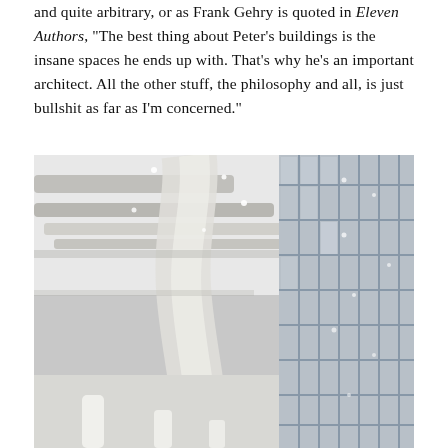and quite arbitrary, or as Frank Gehry is quoted in Eleven Authors, "The best thing about Peter's buildings is the insane spaces he ends up with. That's why he's an important architect. All the other stuff, the philosophy and all, is just bullshit as far as I'm concerned."
[Figure (photo): Interior architectural photograph looking upward at sweeping white curved walls and ceiling panels with recessed lighting dots, alongside a tall multi-pane glass curtain wall facade on the right side.]